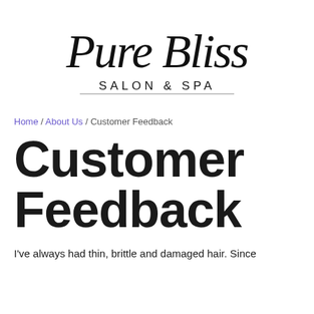[Figure (logo): Pure Bliss Salon & Spa logo in cursive/script black text]
Home / About Us / Customer Feedback
Customer Feedback
I've always had thin, brittle and damaged hair. Since